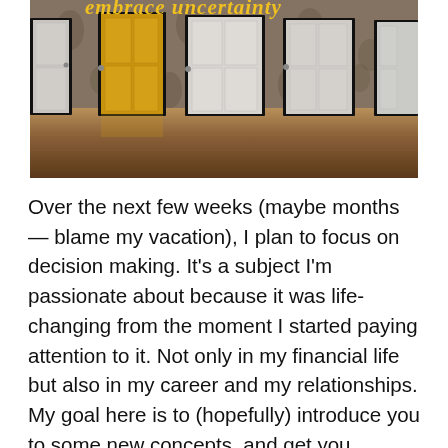[Figure (photo): A hallway-style room with five doors against a patterned wallpaper background and a wooden floor. The second door from the left is yellow/gold, the rest are white/grey. Cursive yellow text reading 'embrace uncertainty' appears at the top of the image.]
Over the next few weeks (maybe months — blame my vacation), I plan to focus on decision making. It's a subject I'm passionate about because it was life-changing from the moment I started paying attention to it. Not only in my financial life but also in my career and my relationships. My goal here is to (hopefully) introduce you to some new concepts, and get you excited about making decisions. You won't learn it all here. I'll link